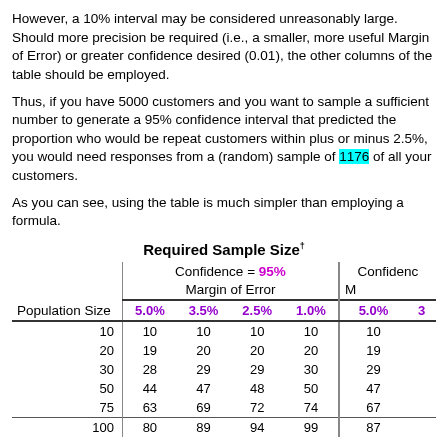However, a 10% interval may be considered unreasonably large. Should more precision be required (i.e., a smaller, more useful Margin of Error) or greater confidence desired (0.01), the other columns of the table should be employed.
Thus, if you have 5000 customers and you want to sample a sufficient number to generate a 95% confidence interval that predicted the proportion who would be repeat customers within plus or minus 2.5%, you would need responses from a (random) sample of 1176 of all your customers.
As you can see, using the table is much simpler than employing a formula.
Required Sample Size†
| Population Size | 5.0% | 3.5% | 2.5% | 1.0% | 5.0% | 3... |
| --- | --- | --- | --- | --- | --- | --- |
| 10 | 10 | 10 | 10 | 10 | 10 |
| 20 | 19 | 20 | 20 | 20 | 19 |
| 30 | 28 | 29 | 29 | 30 | 29 |
| 50 | 44 | 47 | 48 | 50 | 47 |
| 75 | 63 | 69 | 72 | 74 | 67 |
| 100 | 80 | 89 | 94 | 99 | 87 |